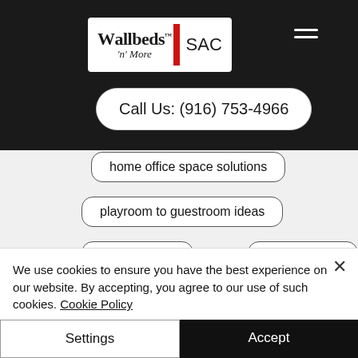[Figure (logo): Wallbeds 'n' More SAC logo with hamburger menu and Call Us button]
home office space solutions
playroom to guestroom ideas
tiny home life
library wallbed
work from home space ideas
We use cookies to ensure you have the best experience on our website. By accepting, you agree to our use of such cookies. Cookie Policy
Settings | Accept